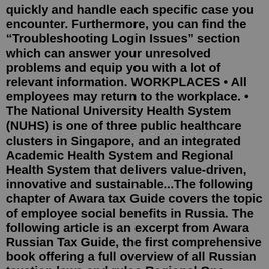quickly and handle each specific case you encounter. Furthermore, you can find the “Troubleshooting Login Issues” section which can answer your unresolved problems and equip you with a lot of relevant information. WORKPLACES • All employees may return to the workplace. • The National University Health System (NUHS) is one of three public healthcare clusters in Singapore, and an integrated Academic Health System and Regional Health System that delivers value-driven, innovative and sustainable...The following chapter of Awara tax Guide covers the topic of employee social benefits in Russia. The following article is an excerpt from Awara Russian Tax Guide, the first comprehensive book offering a full overview of all Russian taxation laws and rules.Regional One Health Career Opportunities LoginAsk is here to help you access Regional One Health Career Opportunities quickly and handle each specific case you encounter. Furthermore, you can find the “Troubleshooting Login Issues” section which can answer your